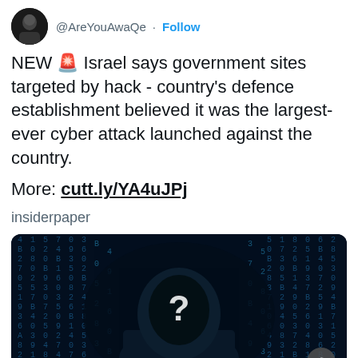@AreYouAwaQe · Follow
NEW 🚨 Israel says government sites targeted by hack - country's defence establishment believed it was the largest-ever cyber attack launched against the country.
More: cutt.ly/YA4uJPj
insiderpaper
[Figure (photo): Dark silhouette of a hooded figure with a question mark on face, surrounded by blue matrix-style falling code numbers in the background]